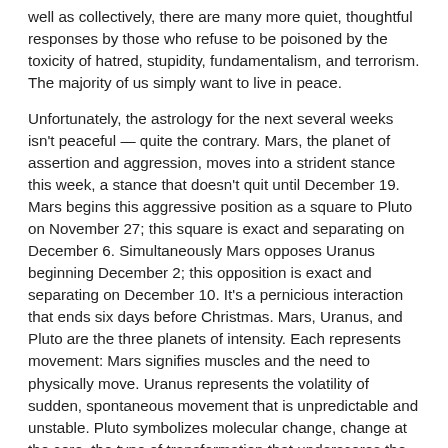well as collectively, there are many more quiet, thoughtful responses by those who refuse to be poisoned by the toxicity of hatred, stupidity, fundamentalism, and terrorism. The majority of us simply want to live in peace.
Unfortunately, the astrology for the next several weeks isn't peaceful — quite the contrary. Mars, the planet of assertion and aggression, moves into a strident stance this week, a stance that doesn't quit until December 19. Mars begins this aggressive position as a square to Pluto on November 27; this square is exact and separating on December 6. Simultaneously Mars opposes Uranus beginning December 2; this opposition is exact and separating on December 10. It's a pernicious interaction that ends six days before Christmas. Mars, Uranus, and Pluto are the three planets of intensity. Each represents movement: Mars signifies muscles and the need to physically move. Uranus represents the volatility of sudden, spontaneous movement that is unpredictable and unstable. Pluto symbolizes molecular change, change at the core, the type of transformation that underscores the process of death and rebirth.